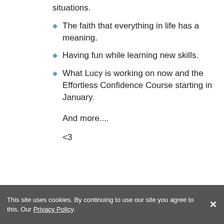situations.
The faith that everything in life has a meaning.
Having fun while learning new skills.
What Lucy is working on now and the Effortless Confidence Course starting in January.
And more....
<3
This site uses cookies. By continuing to use our site you agree to this. Our Privacy Policy.